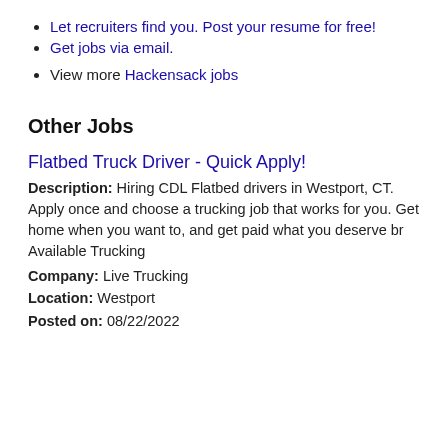Let recruiters find you. Post your resume for free!
Get jobs via email.
View more Hackensack jobs
Other Jobs
Flatbed Truck Driver - Quick Apply!
Description: Hiring CDL Flatbed drivers in Westport, CT. Apply once and choose a trucking job that works for you. Get home when you want to, and get paid what you deserve br Available Trucking
Company: Live Trucking
Location: Westport
Posted on: 08/22/2022